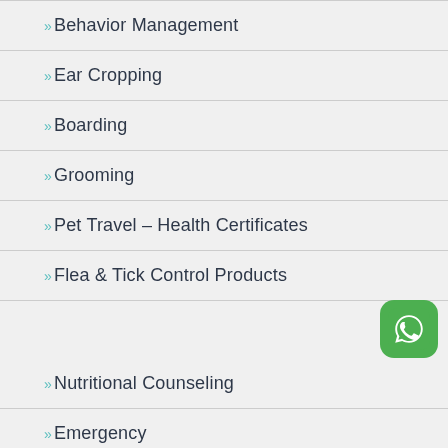Behavior Management
Ear Cropping
Boarding
Grooming
Pet Travel – Health Certificates
Flea & Tick Control Products
Nutritional Counseling
Emergency
Parasite Prevention & Heartworm Testing